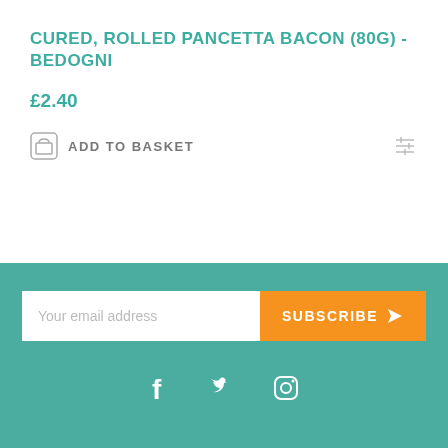CURED, ROLLED PANCETTA BACON (80G) - BEDOGNI
£2.40
ADD TO BASKET
[Figure (screenshot): Email subscription input field with placeholder 'Your email address' and orange SUBSCRIBE button with send icon]
[Figure (other): Social media icons: Facebook, Twitter, Instagram in white on teal footer]